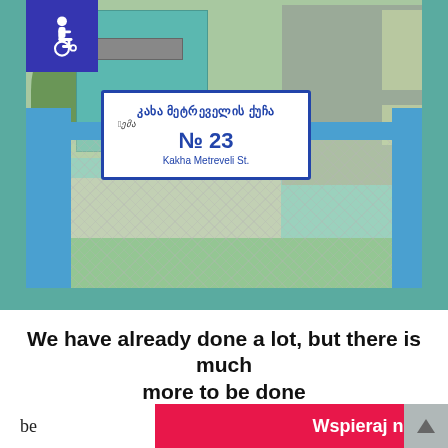[Figure (photo): Outdoor photo of a building complex with a blue fence/gate in the foreground. A street sign on the gate reads Georgian text and 'No 23 / Kakha Metreveli St.' A blue square with a wheelchair accessibility icon is visible in the top-left corner of the photo. Behind the fence are apartment buildings (one teal, one grey-green) with trees visible.]
We have already done a lot, but there is much more to be done
We have already done a lot, but there is still more to be done... social
Wspieraj nas za darmo